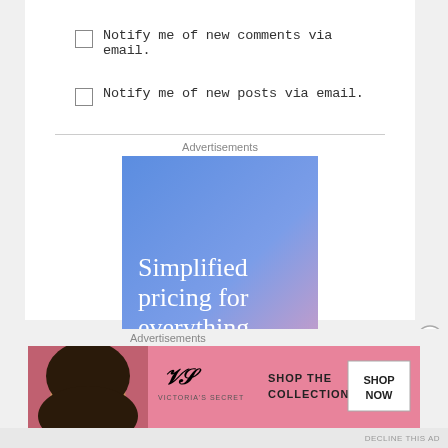Notify me of new comments via email.
Notify me of new posts via email.
Advertisements
[Figure (illustration): Advertisement banner with blue-to-pink gradient background and white serif text reading 'Simplified pricing for everything']
Advertisements
[Figure (illustration): Victoria's Secret banner advertisement on pink background with text 'SHOP THE COLLECTION' and 'SHOP NOW' button, featuring a woman's photo on the left]